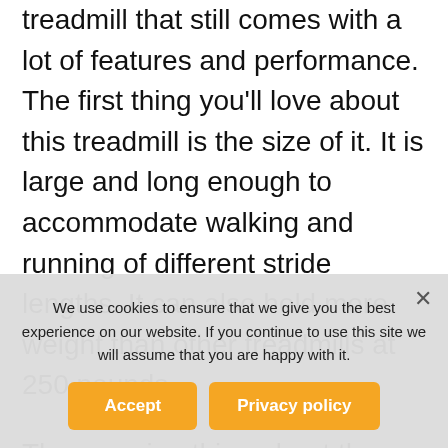treadmill that still comes with a lot of features and performance. The first thing you'll love about this treadmill is the size of it. It is large and long enough to accommodate walking and running of different stride lengths. It can also hold more weight than other treadmills at 250 pounds.
The amazing thing about the size of the TR150 is that it is still foldable. And it's light. The entire unit weighs only 62 lbs, allowing you to set up in whichever room you want to use it, or fold it and store away for more space. This is also a great treadmill if you love to run.
We use cookies to ensure that we give you the best experience on our website. If you continue to use this site we will assume that you are happy with it.